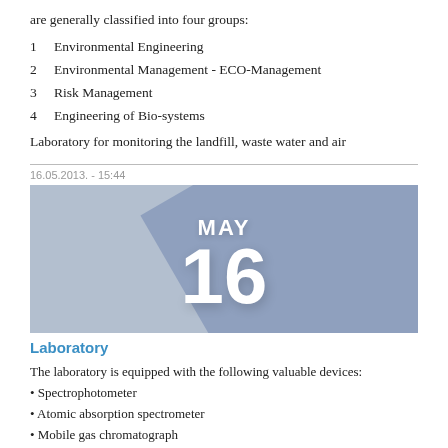are generally classified into four groups:
1   Environmental Engineering
2   Environmental Management - ECO-Management
3   Risk Management
4   Engineering of Bio-systems
Laboratory for monitoring the landfill, waste water and air
16.05.2013. - 15:44
[Figure (illustration): Calendar graphic showing MAY 16 on a blue-grey background with a diagonal stripe shadow]
Laboratory
The laboratory is equipped with the following valuable devices:
• Spectrophotometer
• Atomic absorption spectrometer
• Mobile gas chromatograph